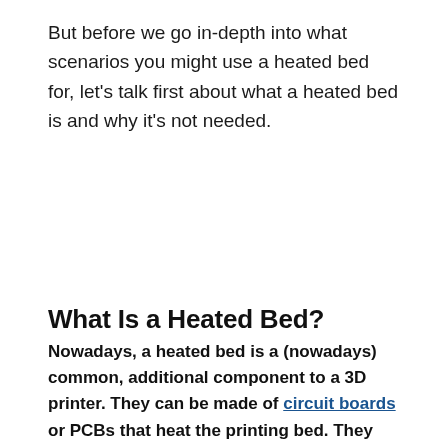But before we go in-depth into what scenarios you might use a heated bed for, let's talk first about what a heated bed is and why it's not needed.
What Is a Heated Bed?
Nowadays, a heated bed is a (nowadays) common, additional component to a 3D printer. They can be made of circuit boards or PCBs that heat the printing bed. They lay on top of the printing surface and may have a spreading surface to